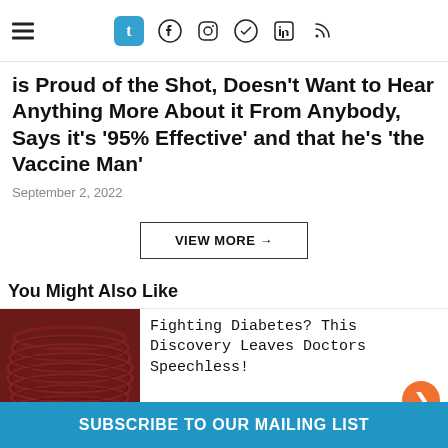Navigation header with hamburger menu and social icons: Tumblr, Facebook, Instagram, Telegram, LinkedIn, RSS
is Proud of the Shot, Doesn't Want to Hear Anything More About it From Anybody, Says it's '95% Effective' and that he's 'the Vaccine Man'
September 2, 2022
VIEW MORE →
You Might Also Like
[Figure (photo): Photo of a dark red coiled hose or tubing]
Fighting Diabetes? This Discovery Leaves Doctors Speechless!
DiaNew
SUBSCRIBE TO OUR MAILING LIST